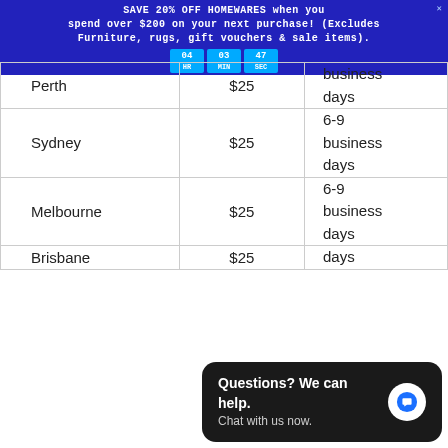SAVE 20% OFF HOMEWARES when you spend over $200 on your next purchase! (Excludes Furniture, rugs, gift vouchers & sale items). [Countdown: 04 HR 03 MIN 47 SEC]
| Location | Cost | Delivery Time |
| --- | --- | --- |
| Perth | $25 | business days |
| Sydney | $25 | 6-9 business days |
| Melbourne | $25 | 6-9 business days |
| Brisbane | $25 | days |